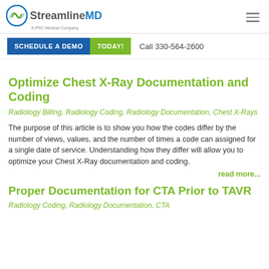StreamlineMD - A PRC Medical Company
SCHEDULE A DEMO TODAY! Call 330-564-2600
Optimize Chest X-Ray Documentation and Coding
Radiology Billing, Radiology Coding, Radiology Documentation, Chest X-Rays
The purpose of this article is to show you how the codes differ by the number of views, values, and the number of times a code can assigned for a single date of service. Understanding how they differ will allow you to optimize your Chest X-Ray documentation and coding.
read more...
Proper Documentation for CTA Prior to TAVR
Radiology Coding, Radiology Documentation, CTA